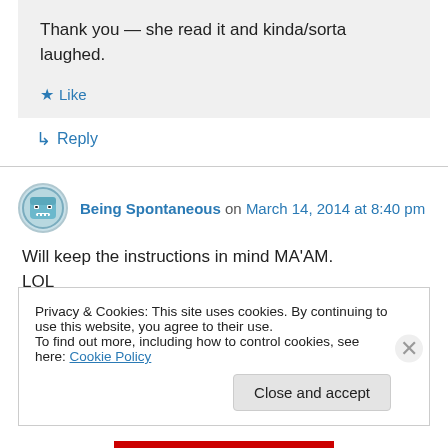Thank you — she read it and kinda/sorta laughed.
★ Like
↳ Reply
Being Spontaneous on March 14, 2014 at 8:40 pm
Will keep the instructions in mind MA'AM. LOL
Privacy & Cookies: This site uses cookies. By continuing to use this website, you agree to their use.
To find out more, including how to control cookies, see here: Cookie Policy
Close and accept